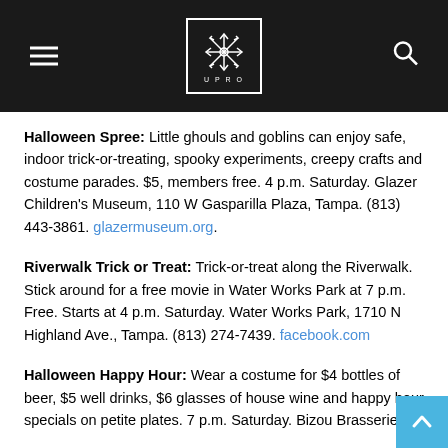UPRO logo header with hamburger menu and search icon
Halloween Spree: Little ghouls and goblins can enjoy safe, indoor trick-or-treating, spooky experiments, creepy crafts and costume parades. $5, members free. 4 p.m. Saturday. Glazer Children's Museum, 110 W Gasparilla Plaza, Tampa. (813) 443-3861. glazermuseum.org.
Riverwalk Trick or Treat: Trick-or-treat along the Riverwalk. Stick around for a free movie in Water Works Park at 7 p.m. Free. Starts at 4 p.m. Saturday. Water Works Park, 1710 N Highland Ave., Tampa. (813) 274-7439. facebook.com
Halloween Happy Hour: Wear a costume for $4 bottles of beer, $5 well drinks, $6 glasses of house wine and happy hour specials on petite plates. 7 p.m. Saturday. Bizou Brasserie at